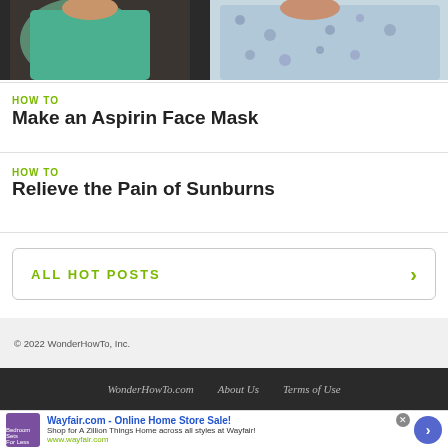[Figure (photo): Partial photo of two people, one in a teal/mint top and one in a floral top, cropped at the top of the page]
HOW TO
Make an Aspirin Face Mask
HOW TO
Relieve the Pain of Sunburns
ALL HOT POSTS
© 2022 WonderHowTo, Inc.
WonderHowTo.com   About Us   Terms of Use
Wayfair.com - Online Home Store Sale! Shop for A Zillion Things Home across all styles at Wayfair! www.wayfair.com